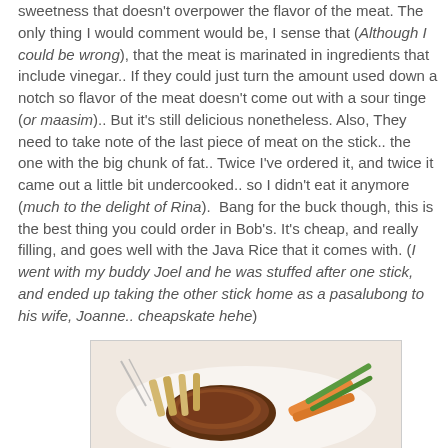sweetness that doesn't overpower the flavor of the meat. The only thing I would comment would be, I sense that (Although I could be wrong), that the meat is marinated in ingredients that include vinegar.. If they could just turn the amount used down a notch so flavor of the meat doesn't come out with a sour tinge (or maasim).. But it's still delicious nonetheless. Also, They need to take note of the last piece of meat on the stick.. the one with the big chunk of fat.. Twice I've ordered it, and twice it came out a little bit undercooked.. so I didn't eat it anymore (much to the delight of Rina).  Bang for the buck though, this is the best thing you could order in Bob's. It's cheap, and really filling, and goes well with the Java Rice that it comes with. (I went with my buddy Joel and he was stuffed after one stick, and ended up taking the other stick home as a pasalubong to his wife, Joanne.. cheapskate hehe)
[Figure (photo): Photo of a meat dish served on a white plate with vegetables including carrots and green beans, and what appears to be fries or noodles.]